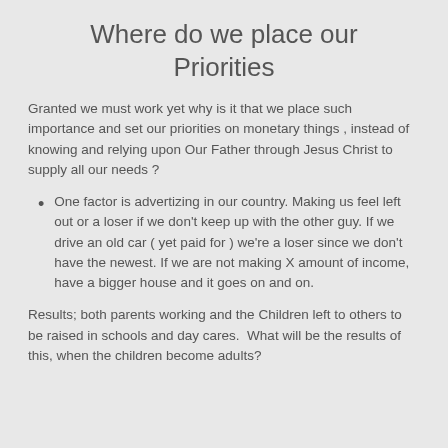Where do we place our Priorities
Granted we must work yet why is it that we place such importance and set our priorities on monetary things , instead of knowing and relying upon Our Father through Jesus Christ to supply all our needs ?
One factor is advertizing in our country. Making us feel left out or a loser if we don't keep up with the other guy. If we drive an old car ( yet paid for ) we're a loser since we don't have the newest. If we are not making X amount of income, have a bigger house and it goes on and on.
Results; both parents working and the Children left to others to be raised in schools and day cares.  What will be the results of this, when the children become adults?